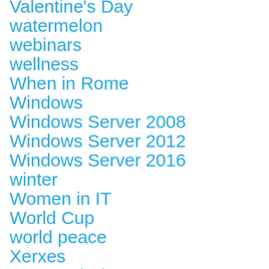Valentine's Day
watermelon
webinars
wellness
When in Rome
Windows
Windows Server 2008
Windows Server 2012
Windows Server 2016
winter
Women in IT
World Cup
world peace
Xerxes
Year-End Blowout
Yosemite